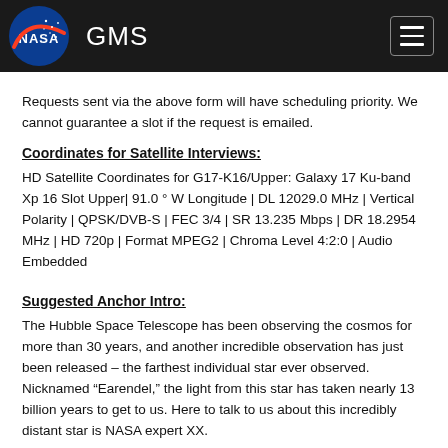NASA GMS
Requests sent via the above form will have scheduling priority. We cannot guarantee a slot if the request is emailed.
Coordinates for Satellite Interviews:
HD Satellite Coordinates for G17-K16/Upper: Galaxy 17 Ku-band Xp 16 Slot Upper| 91.0 ° W Longitude | DL 12029.0 MHz | Vertical Polarity | QPSK/DVB-S | FEC 3/4 | SR 13.235 Mbps | DR 18.2954 MHz | HD 720p | Format MPEG2 | Chroma Level 4:2:0 | Audio Embedded
Suggested Anchor Intro:
The Hubble Space Telescope has been observing the cosmos for more than 30 years, and another incredible observation has just been released – the farthest individual star ever observed. Nicknamed “Earendel,” the light from this star has taken nearly 13 billion years to get to us. Here to talk to us about this incredibly distant star is NASA expert XX.